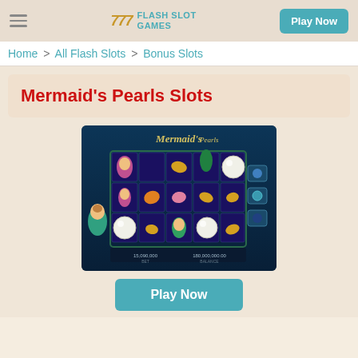FLASH SLOT GAMES — Play Now
Home > All Flash Slots > Bonus Slots
Mermaid's Pearls Slots
[Figure (screenshot): Mermaid's Pearls slot game screenshot showing a 5x3 grid with mermaid, shell, and pearl symbols on a dark underwater themed background]
Play Now